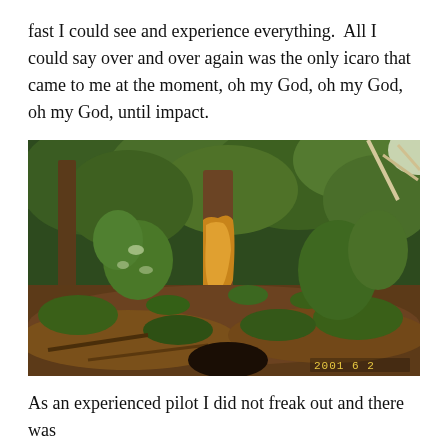fast I could see and experience everything.  All I could say over and over again was the only icaro that came to me at the moment, oh my God, oh my God, oh my God, until impact.
[Figure (photo): Photograph of a forest scene showing a damaged tree with stripped bark, surrounded by green foliage and undergrowth on a hillside. A date stamp '2001 6 2' appears in the lower right corner.]
As an experienced pilot I did not freak out and there was